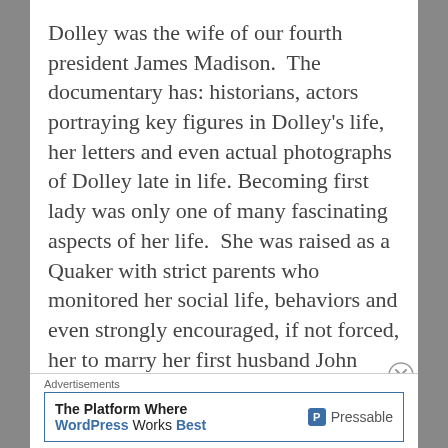Dolley was the wife of our fourth president James Madison.  The documentary has: historians, actors portraying key figures in Dolley's life, her letters and even actual photographs of Dolley late in life. Becoming first lady was only one of many fascinating aspects of her life.  She was raised as a Quaker with strict parents who monitored her social life, behaviors and even strongly encouraged, if not forced, her to marry her first husband John Payne Todd.
Advertisements
The Platform Where WordPress Works Best — Pressable